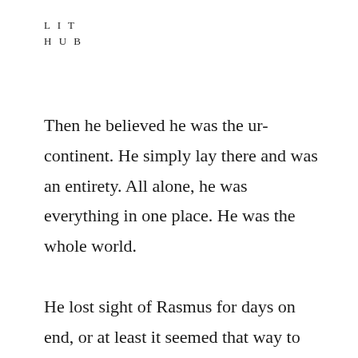L I T
H U B
Then he believed he was the ur-continent. He simply lay there and was an entirety. All alone, he was everything in one place. He was the whole world.

He lost sight of Rasmus for days on end, or at least it seemed that way to him, simply because there was now no way to determine when one day ended and the next began.